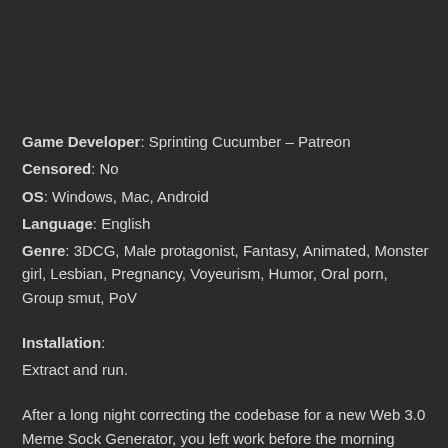Game Developer: Sprinting Cucumber – Patreon
Censored: No
OS: Windows, Mac, Android
Language: English
Genre: 3DCG, Male protagonist, Fantasy, Animated, Monster girl, Lesbian, Pregnancy, Voyeurism, Humor, Oral porn, Group smut, PoV
Installation:
Extract and run.
After a long night correcting the codebase for a new Web 3.0 Meme Sock Generator, you left work before the morning traffic hit.